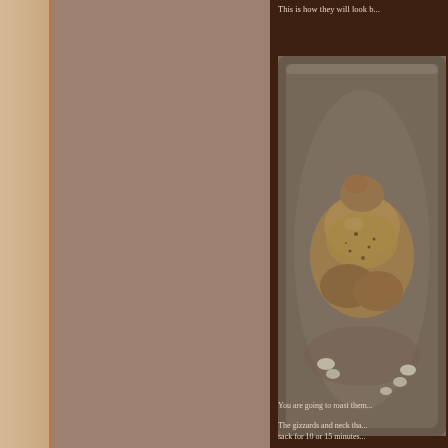This is how they will look b...
[Figure (photo): Raw seasoned poultry or meat in a metal roasting pan with garlic cloves, dusted with spices, viewed from above.]
You are going to roast them...
The gizzards and neck tha... sack for 10 or 15 minutes...